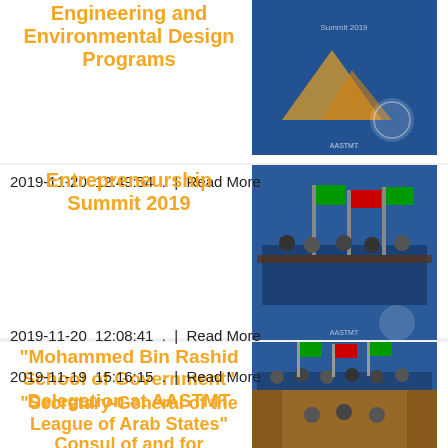Engineering and Environmental Design Programs
[Figure (photo): Photo of Engineering and Environmental Design Programs event with AASTMT logo]
2019-11-20  12:49:54  .  |  Read More
Entrepreneurship Summit 2019
[Figure (photo): Photo from Entrepreneurship Summit 2019 event]
2019-11-20  12:08:41  .  |  Read More
"Mohammed Bin Rashid School of Government" Delegation at AASTMT
[Figure (photo): Photo of Mohammed Bin Rashid School of Government delegation visit at AASTMT]
2019-11-19  15:16:15  .  |  Read More
"Secretary-General of the League of Arab States" Consul of and for communication France and media at AASTMT
[Figure (photo): Photo from Secretary-General of the League of Arab States event at AASTMT]